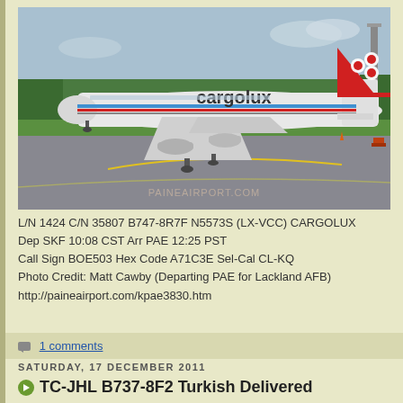[Figure (photo): Cargolux Boeing 747-8R7F cargo aircraft on runway at Paine Airport. White livery with red tail featuring a white circular logo, and red/blue/grey stripes along the fuselage. 'cargolux' text on fuselage. Watermark reads PAINEAIRPORT.COM.]
L/N 1424 C/N 35807 B747-8R7F N5573S (LX-VCC) CARGOLUX
Dep SKF 10:08 CST Arr PAE 12:25 PST
Call Sign BOE503 Hex Code A71C3E Sel-Cal CL-KQ
Photo Credit: Matt Cawby (Departing PAE for Lackland AFB)
http://paineairport.com/kpae3830.htm
1 comments
SATURDAY, 17 DECEMBER 2011
TC-JHL B737-8F2 Turkish Delivered